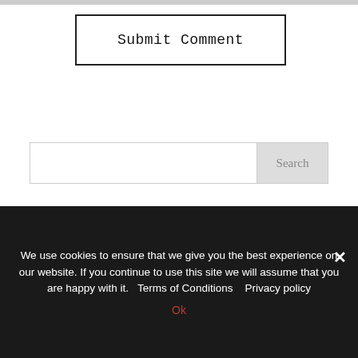[Figure (screenshot): A 'Submit Comment' button with black border on white background]
[Figure (screenshot): A search input field with a grey 'Search' button on the right]
Recent Posts
3 Ways to Grow Your Brand and Bottom Line With a
We use cookies to ensure that we give you the best experience on our website. If you continue to use this site we will assume that you are happy with it.  Terms of Conditions  Privacy policy
Ok